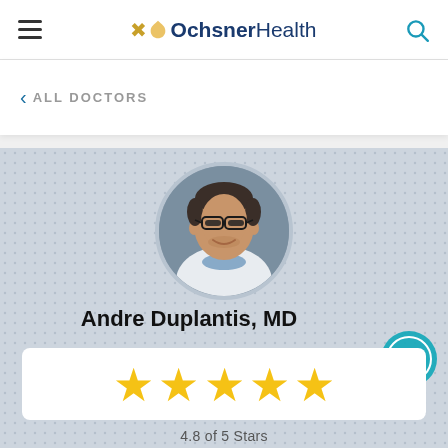Ochsner Health
< ALL DOCTORS
[Figure (photo): Circular headshot of Dr. Andre Duplantis, MD, a man with glasses wearing a white coat]
Andre Duplantis, MD
[Figure (infographic): Five gold star rating display]
4.8 of 5 Stars